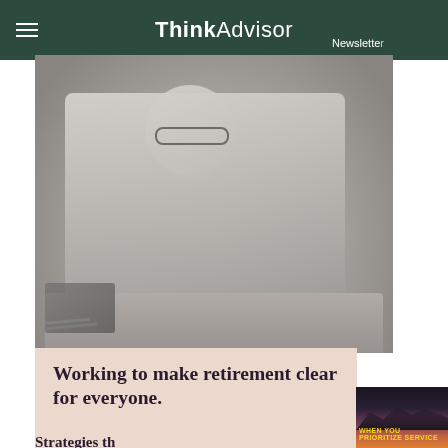ThinkAdvisor Newsletter
[Figure (photo): Grayscale photo of a middle-aged man with glasses smiling and writing on a notepad at a desk, with other people visible in the background]
Working to make retirement clear for everyone.
[Figure (photo): Partial view of a dark background with mountain silhouette and orange/yellow gradient sky with text 'WHEN YOU PRIORITIZE SERVICE']
WHEN YOU PRIORITIZE SERVICE